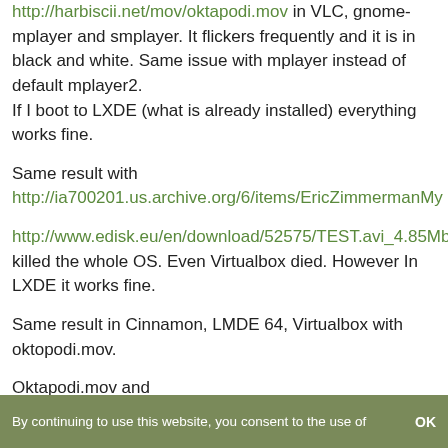http://harbiscii.net/mov/oktapodi.mov in VLC, gnome-mplayer and smplayer. It flickers frequently and it is in black and white. Same issue with mplayer instead of default mplayer2.
If I boot to LXDE (what is already installed) everything works fine.
Same result with http://ia700201.us.archive.org/6/items/EricZimmermanMy
http://www.edisk.eu/en/download/52575/TEST.avi_4.85Mb killed the whole OS. Even Virtualbox died. However In LXDE it works fine.
Same result in Cinnamon, LMDE 64, Virtualbox with oktopodi.mov.
Oktapodi.mov and EricZimmermanMyTestAVIfile.../test.avi plays the
By continuing to use this website, you consent to the use of    OK